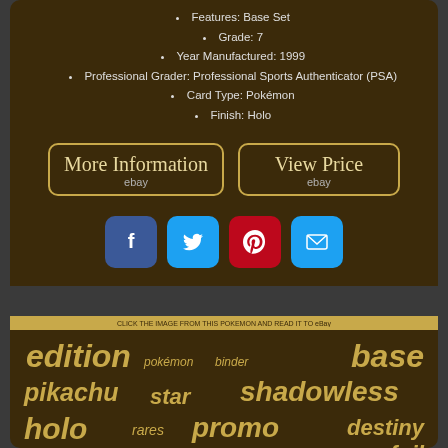Features: Base Set
Grade: 7
Year Manufactured: 1999
Professional Grader: Professional Sports Authenticator (PSA)
Card Type: Pokémon
Finish: Holo
[Figure (other): Two eBay buttons: 'More Information' and 'View Price', styled with gold border on dark brown background]
[Figure (other): Social media sharing icons: Facebook, Twitter, Pinterest, Email]
edition base pokémon binder pikachu star shadowless holo rares promo destiny blastoise wotc opening original foil rare pokemon
tag cloud with trading card keywords